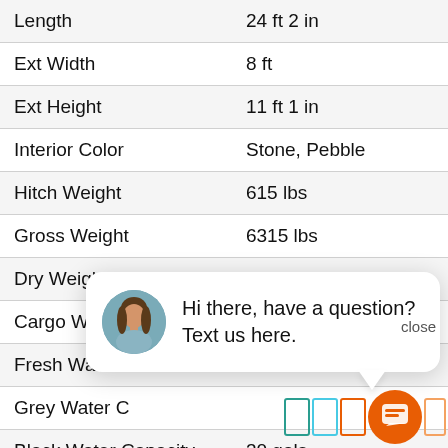| Specification | Value |
| --- | --- |
| Length | 24 ft 2 in |
| Ext Width | 8 ft |
| Ext Height | 11 ft 1 in |
| Interior Color | Stone, Pebble |
| Hitch Weight | 615 lbs |
| Gross Weight | 6315 lbs |
| Dry Weight | 4823 lbs |
| Cargo Weight | 1492 lbs |
| Fresh Water |  |
| Grey Water C |  |
| Black Water Capacity | 30 gals |
| Available Beds | Queen |
| Refrigerator Size | 11 cu ft |
| Cooktop Burners | 3 |
[Figure (other): Chat popup overlay with avatar of a woman and text: Hi there, have a question? Text us here.]